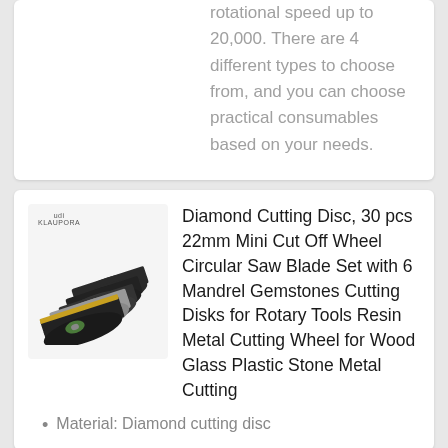rotational speed up to 20,000. There are 4 different types to choose from, and you can choose practical consumables based on your needs.
[Figure (photo): Photo of a set of diamond cutting discs / mini cut off wheels, multiple black circular grinding discs fanned out, with a small brand logo visible at top left of the image box.]
Diamond Cutting Disc, 30 pcs 22mm Mini Cut Off Wheel Circular Saw Blade Set with 6 Mandrel Gemstones Cutting Disks for Rotary Tools Resin Metal Cutting Wheel for Wood Glass Plastic Stone Metal Cutting
Material: Diamond cutting disc